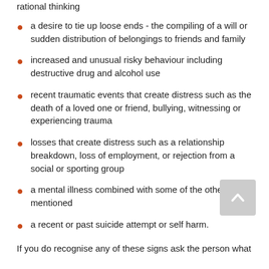rational thinking
a desire to tie up loose ends - the compiling of a will or sudden distribution of belongings to friends and family
increased and unusual risky behaviour including destructive drug and alcohol use
recent traumatic events that create distress such as the death of a loved one or friend, bullying, witnessing or experiencing trauma
losses that create distress such as a relationship breakdown, loss of employment, or rejection from a social or sporting group
a mental illness combined with some of the other signs mentioned
a recent or past suicide attempt or self harm.
If you do recognise any of these signs ask the person what